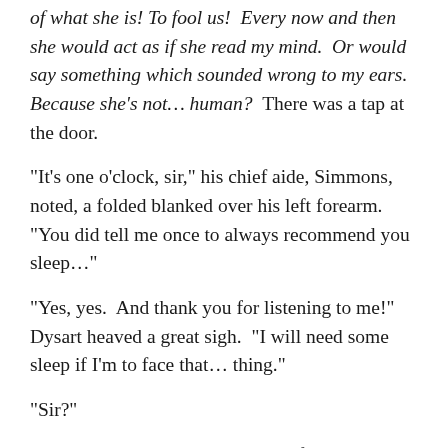of what she is! To fool us!  Every now and then she would act as if she read my mind.  Or would say something which sounded wrong to my ears.  Because she's not… human?  There was a tap at the door.
“It’s one o’clock, sir,” his chief aide, Simmons, noted, a folded blanked over his left forearm.  “You did tell me once to always recommend you sleep…”
“Yes, yes.  And thank you for listening to me!” Dysart heaved a great sigh.  “I will need some sleep if I’m to face that… thing.”
“Sir?”
“Nothing,” he said, stripping out of his suit and making for the tiny bed along the wall.  “Have these at least pressed for tomor- for later this morning.  And get me up at four.”